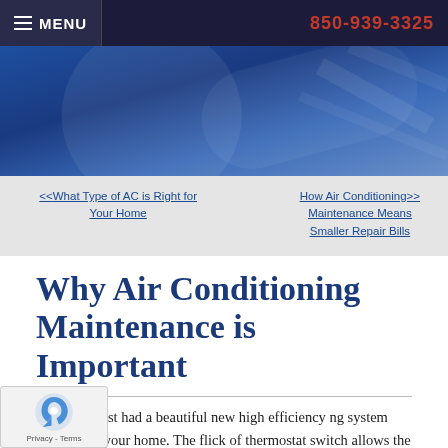≡ MENU   850-939-3325
[Figure (photo): Blue-toned hero banner image with light and dark blue gradient, suggesting an HVAC/air conditioning theme]
<<What Type of AC is Right for Your Home
How Air Conditioning>> Maintenance Means Smaller Repair Bills
Why Air Conditioning Maintenance is Important
So you've just had a beautiful new high efficiency ng system installed in your home. The flick of thermostat switch allows the system to purr, and you and your family are finally able to sit back